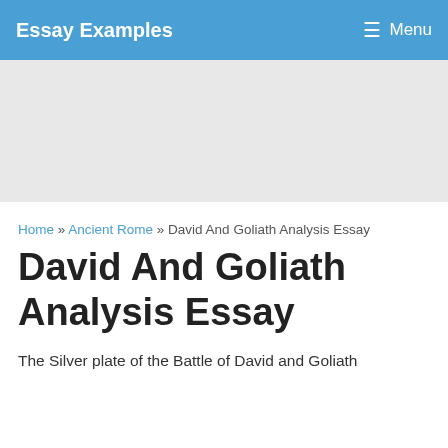Essay Examples   Menu
[Figure (other): Gray advertisement placeholder banner]
Home » Ancient Rome » David And Goliath Analysis Essay
David And Goliath Analysis Essay
The Silver plate of the Battle of David and Goliath